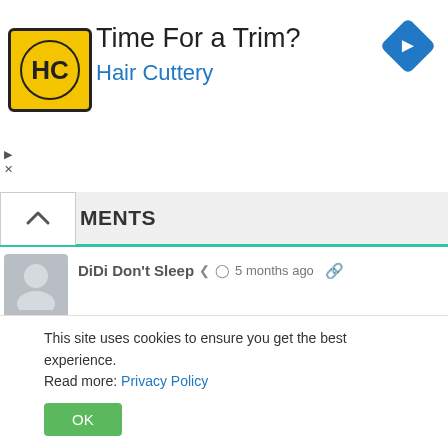[Figure (other): Advertisement banner for Hair Cuttery with logo, title 'Time For a Trim?' and navigation icon]
MENTS
DiDi Don't Sleep  5 months ago
There were big black bugs on the ceiling to the right of me..so Not directly over me in bed..I am scared to death of these bugs so why would I dream of them???
This site uses cookies to ensure you get the best experience. Read more: Privacy Policy
OK